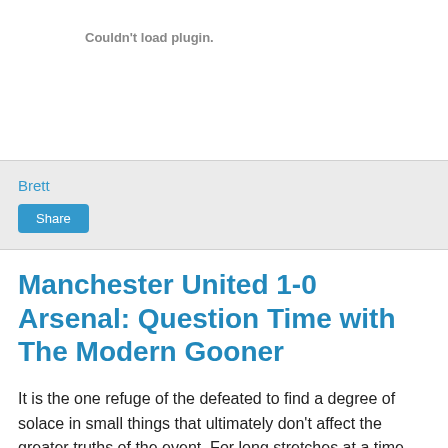Couldn't load plugin.
Brett
Share
Manchester United 1-0 Arsenal: Question Time with The Modern Gooner
It is the one refuge of the defeated to find a degree of solace in small things that ultimately don't affect the greater truths of the event. For long stretches at a time, Arsenal were not